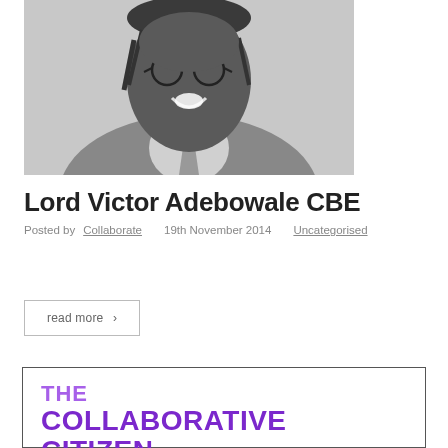[Figure (photo): Black and white headshot photo of Lord Victor Adebowale CBE, a man wearing round glasses, a suit, and a tie, smiling broadly.]
Lord Victor Adebowale CBE
Posted by Collaborate   19th November 2014   Uncategorised
read more >
[Figure (logo): Logo for 'THE COLLABORATIVE CITIZEN' in bold purple text inside a bordered box.]